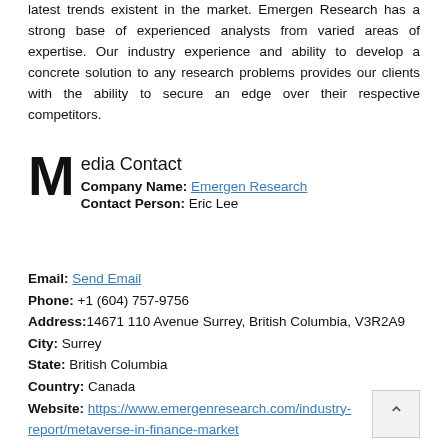latest trends existent in the market. Emergen Research has a strong base of experienced analysts from varied areas of expertise. Our industry experience and ability to develop a concrete solution to any research problems provides our clients with the ability to secure an edge over their respective competitors.
Media Contact
Company Name: Emergen Research
Contact Person: Eric Lee
Email: Send Email
Phone: +1 (604) 757-9756
Address: 14671 110 Avenue Surrey, British Columbia, V3R2A9
City: Surrey
State: British Columbia
Country: Canada
Website: https://www.emergenresearch.com/industry-report/metaverse-in-finance-market